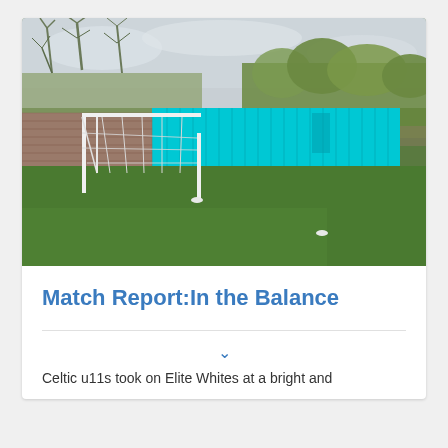[Figure (photo): A football pitch with a white goal post on the left side. Behind the goal is a bright turquoise/cyan corrugated metal fence/hoarding. The background shows bare winter trees and some evergreen shrubs. The pitch is green grass with a tarmac path visible to the right. The sky is overcast and light grey.]
Match Report:In the Balance
Celtic u11s took on Elite Whites at a bright and